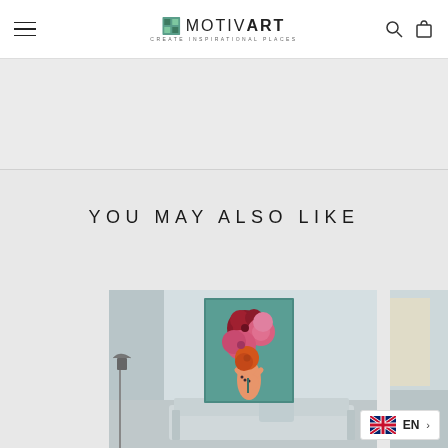MotivArt — CREATE INSPIRATIONAL PLACES
YOU MAY ALSO LIKE
[Figure (photo): Wall art canvas showing a woman with large colorful flowers (red, pink, orange) replacing her head, illustrated style on teal background, displayed in a living room setting with white sofa]
[Figure (photo): Partial view of another wall art product on the right edge of the page]
EN